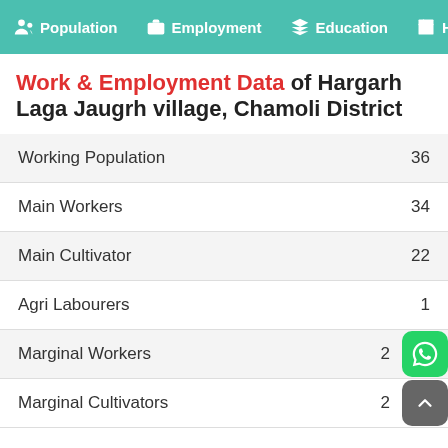Population  Employment  Education  He
Work & Employment Data of Hargarh Laga Jaugrh village, Chamoli District
| Category | Value |
| --- | --- |
| Working Population | 36 |
| Main Workers | 34 |
| Main Cultivator | 22 |
| Agri Labourers | 1 |
| Marginal Workers | 2 |
| Marginal Cultivators | 2 |